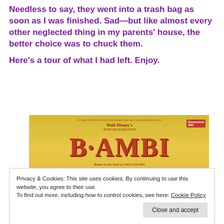Needless to say, they went into a trash bag as soon as I was finished. Sad—but like almost every other neglected thing in my parents' house, the better choice was to chuck them.
Here's a tour of what I had left. Enjoy.
[Figure (photo): Walt Disney's Story and Songs from Bambi book and record set cover, yellow background with red Bambi title lettering, text reads: A magnificent full-color illustrated book and long-playing record, Walt Disney's Story and Songs From Bambi, Based on the book by FELIX SALTEN, Disneyland logo top right]
Privacy & Cookies: This site uses cookies. By continuing to use this website, you agree to their use.
To find out more, including how to control cookies, see here: Cookie Policy
Close and accept